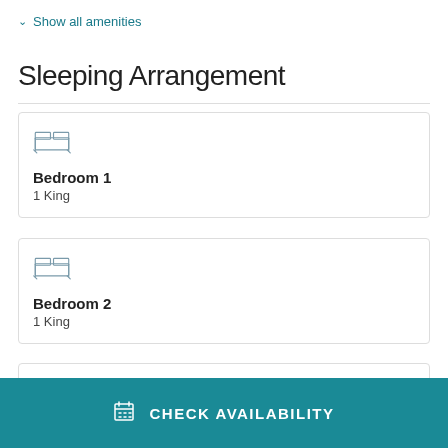Show all amenities
Sleeping Arrangement
Bedroom 1 — 1 King
Bedroom 2 — 1 King
Bedroom 3 (partial)
CHECK AVAILABILITY